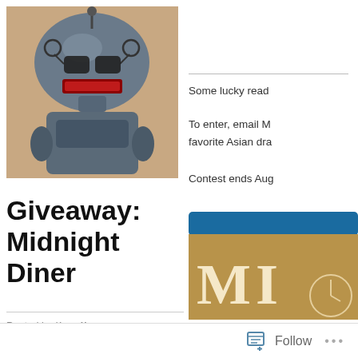[Figure (photo): Close-up photo of a vintage sci-fi robot toy with metallic grey body, dome head, and mechanical details including red accents]
Some lucky read
To enter, email M favorite Asian dra
Contest ends Aug
Giveaway: Midnight Diner
Posted by Ken Murray
August 10, 2021
[Figure (photo): Partial book cover showing 'MI' text on a brown/tan background with a clock image, blue top border]
Follow ...